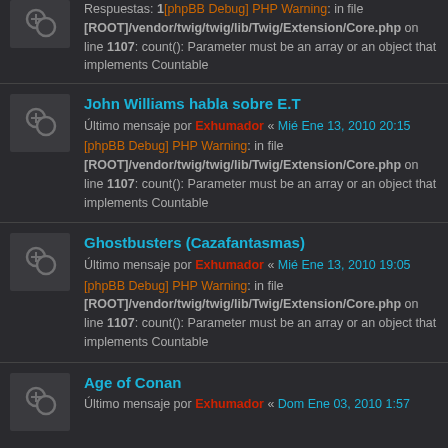Respuestas: 1[phpBB Debug] PHP Warning: in file [ROOT]/vendor/twig/twig/lib/Twig/Extension/Core.php on line 1107: count(): Parameter must be an array or an object that implements Countable
John Williams habla sobre E.T — Último mensaje por Exhumador « Mié Ene 13, 2010 20:15 [phpBB Debug] PHP Warning: in file [ROOT]/vendor/twig/twig/lib/Twig/Extension/Core.php on line 1107: count(): Parameter must be an array or an object that implements Countable
Ghostbusters (Cazafantasmas) — Último mensaje por Exhumador « Mié Ene 13, 2010 19:05 [phpBB Debug] PHP Warning: in file [ROOT]/vendor/twig/twig/lib/Twig/Extension/Core.php on line 1107: count(): Parameter must be an array or an object that implements Countable
Age of Conan — Último mensaje por Exhumador « Dom Ene 03, 2010 1:57